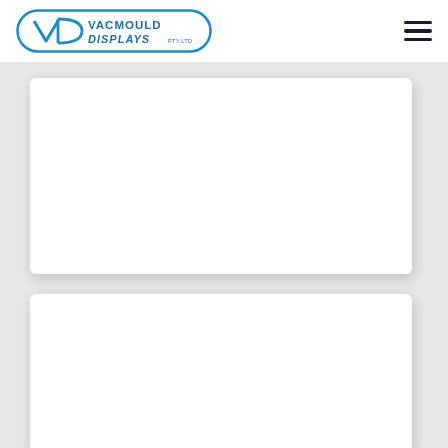Vacmould Displays Pty Ltd - navigation header with logo and hamburger menu
[Figure (logo): Vacmould Displays Pty Ltd logo: blue rounded pill-shaped border containing a stylized V/D icon on the left and the text VACMOULD DISPLAYS PTY LTD in blue]
[Figure (other): White card panel 1 - empty white rectangle with rounded corners and drop shadow]
[Figure (other): White card panel 2 - empty white rectangle with rounded corners and drop shadow]